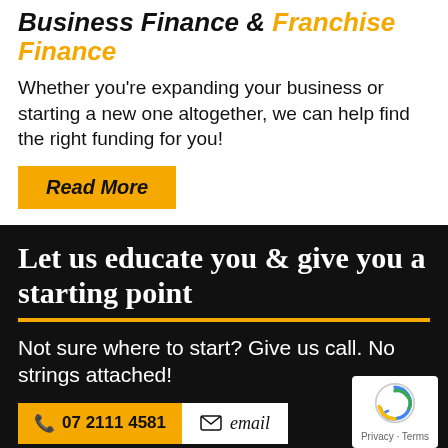Business Finance & Franchise Finance
Whether you're expanding your business or starting a new one altogether, we can help find the right funding for you!
Read More
Let us educate you & give you a starting point
Not sure where to start? Give us call. No strings attached!
07 2111 4581   email